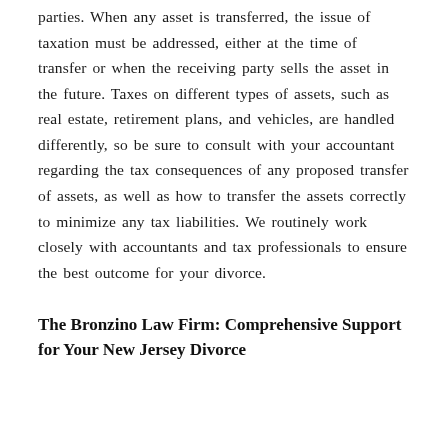parties. When any asset is transferred, the issue of taxation must be addressed, either at the time of transfer or when the receiving party sells the asset in the future. Taxes on different types of assets, such as real estate, retirement plans, and vehicles, are handled differently, so be sure to consult with your accountant regarding the tax consequences of any proposed transfer of assets, as well as how to transfer the assets correctly to minimize any tax liabilities. We routinely work closely with accountants and tax professionals to ensure the best outcome for your divorce.
The Bronzino Law Firm: Comprehensive Support for Your New Jersey Divorce